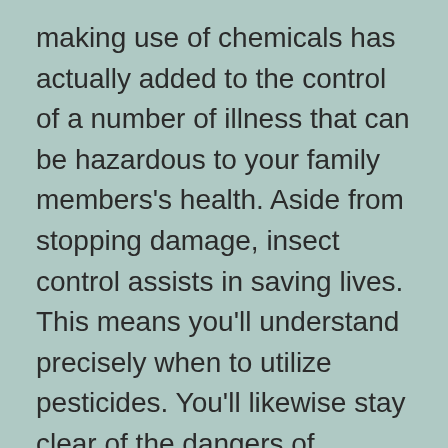making use of chemicals has actually added to the control of a number of illness that can be hazardous to your family members's health. Aside from stopping damage, insect control assists in saving lives. This means you'll understand precisely when to utilize pesticides. You'll likewise stay clear of the dangers of allergies by seeing to it that you do not subject on your own or your family to chemicals.
Physical controls include catches, barriers, and equipments that avoid the bug from going into and infesting your home. As an example, you can install home window displays and also